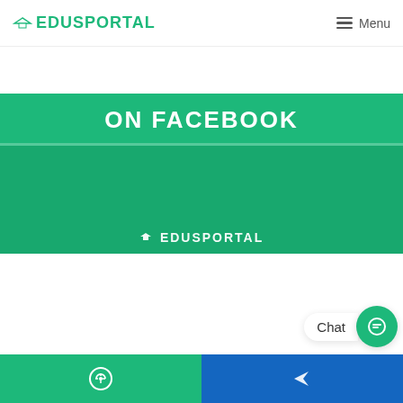EDUSPORTAL  Menu
[Figure (screenshot): Green Facebook promotional banner showing 'ON FACEBOOK' title text and EDUSPORTAL logo at bottom on green background]
Find us on Facebook
QUICK LINKS
Select Category
Chat